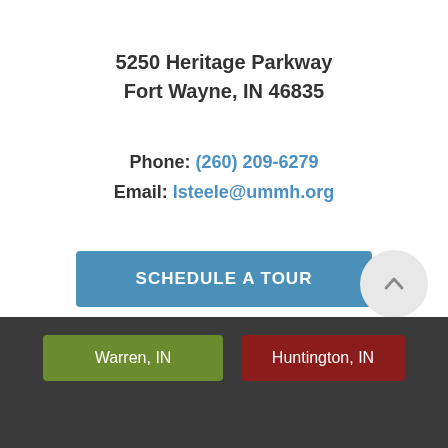5250 Heritage Parkway
Fort Wayne, IN 46835
Phone: (260) 209-6279
Email: lsteele@ummh.org
SCHEDULE A TOUR
Warren, IN
Huntington, IN